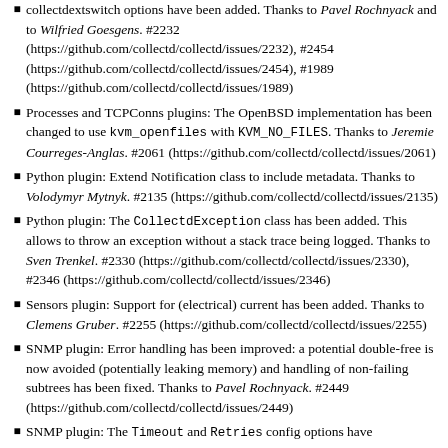collectdextswitch options have been added. Thanks to Pavel Rochnyack and to Wilfried Goesgens. #2232 (https://github.com/collectd/collectd/issues/2232), #2454 (https://github.com/collectd/collectd/issues/2454), #1989 (https://github.com/collectd/collectd/issues/1989)
Processes and TCPConns plugins: The OpenBSD implementation has been changed to use kvm_openfiles with KVM_NO_FILES. Thanks to Jeremie Courreges-Anglas. #2061 (https://github.com/collectd/collectd/issues/2061)
Python plugin: Extend Notification class to include metadata. Thanks to Volodymyr Mytnyk. #2135 (https://github.com/collectd/collectd/issues/2135)
Python plugin: The CollectdException class has been added. This allows to throw an exception without a stack trace being logged. Thanks to Sven Trenkel. #2330 (https://github.com/collectd/collectd/issues/2330), #2346 (https://github.com/collectd/collectd/issues/2346)
Sensors plugin: Support for (electrical) current has been added. Thanks to Clemens Gruber. #2255 (https://github.com/collectd/collectd/issues/2255)
SNMP plugin: Error handling has been improved: a potential double-free is now avoided (potentially leaking memory) and handling of non-failing subtrees has been fixed. Thanks to Pavel Rochnyack. #2449 (https://github.com/collectd/collectd/issues/2449)
SNMP plugin: The Timeout and Retries config options have